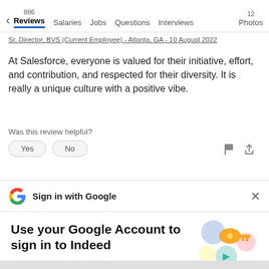← 886 Reviews  Salaries  Jobs  Questions  Interviews  12 Photos
Sr. Director, BVS (Current Employee) - Atlanta, GA - 10 August 2022
At Salesforce, everyone is valued for their initiative, effort, and contribution, and respected for their diversity. It is really a unique culture with a positive vibe.
Was this review helpful?
Yes   No
Sign in with Google
Use your Google Account to sign in to Indeed
No more passwords to remember.
Signing in is fast, simple and secure.
Continue